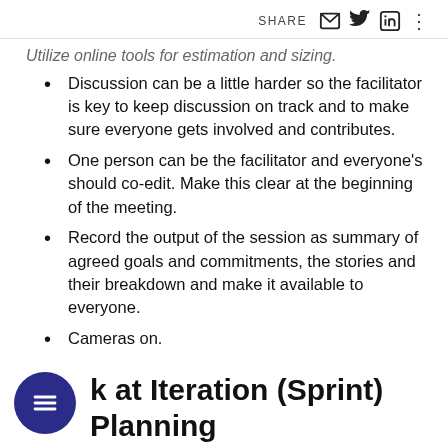SHARE
Utilize online tools for estimation and sizing.
Discussion can be a little harder so the facilitator is key to keep discussion on track and to make sure everyone gets involved and contributes.
One person can be the facilitator and everyone's should co-edit. Make this clear at the beginning of the meeting.
Record the output of the session as summary of agreed goals and commitments, the stories and their breakdown and make it available to everyone.
Cameras on.
Take regular breaks.
k at Iteration (Sprint) Planning